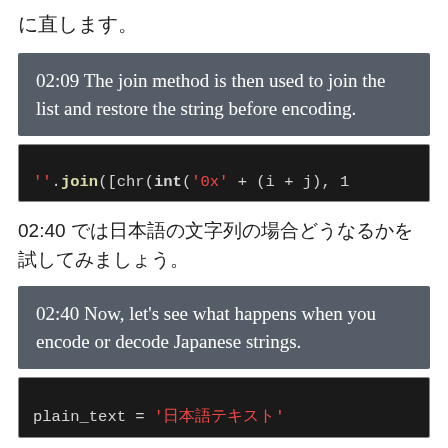に直します。
02:09 The join method is then used to join the list and restore the string before encoding.
[Figure (screenshot): Code snippet: ''.join([chr(int('0x' + (i + j), 1]
02:40 では日本語の文字列の場合どうなるかを試してみましょう。
02:40 Now, let's see what happens when you encode or decode Japanese strings.
[Figure (screenshot): Code snippet: plain_text = '日本語テキスト']